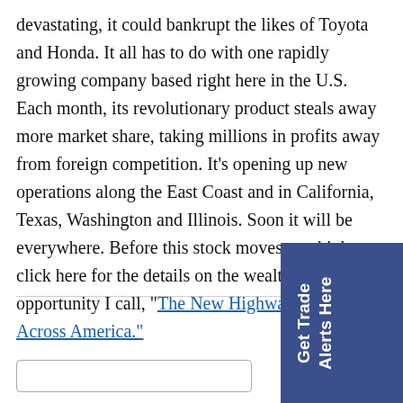devastating, it could bankrupt the likes of Toyota and Honda. It all has to do with one rapidly growing company based right here in the U.S. Each month, its revolutionary product steals away more market share, taking millions in profits away from foreign competition. It's opening up new operations along the East Coast and in California, Texas, Washington and Illinois. Soon it will be everywhere. Before this stock moves any higher, click here for the details on the wealth-building opportunity I call, "The New Highway Being Built Across America."
[Figure (other): Blue sidebar tab with white rotated text reading 'Get Trade Alerts Here']